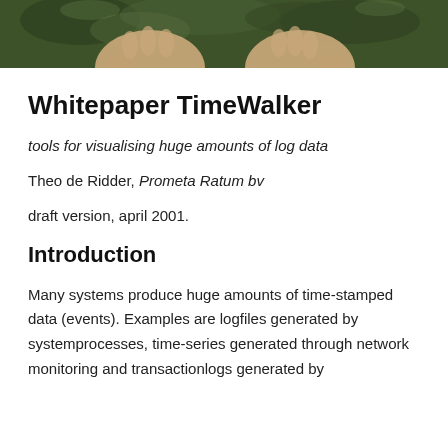[Figure (photo): Partial photo showing hands against a green grass background, cropped at the top of the page]
Whitepaper TimeWalker
tools for visualising huge amounts of log data
Theo de Ridder, Prometa Ratum bv
draft version, april 2001.
Introduction
Many systems produce huge amounts of time-stamped data (events). Examples are logfiles generated by systemprocesses, time-series generated through network monitoring and transactionlogs generated by